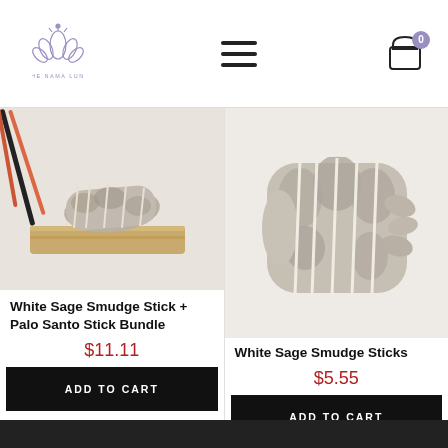The Nama Luna — navigation header with logo, hamburger menu, and cart icon showing 0 items
[Figure (photo): White sage smudge stick bundled with twine resting on a palo santo wood stick, with red/orange incense sticks in background]
White Sage Smudge Stick + Palo Santo Stick Bundle
$11.11
ADD TO CART
[Figure (photo): White sage smudge stick bundle tied with white twine on white background]
White Sage Smudge Sticks
$5.55
ADD TO CART